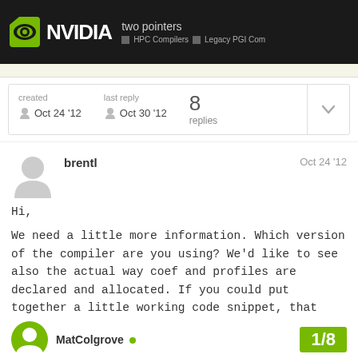NVIDIA two pointers | HPC Compilers | Legacy PGI Com
| created | last reply | replies |  |
| --- | --- | --- | --- |
| Oct 24 '12 | Oct 30 '12 | 8 replies |  |
brentl
Oct 24 '12
Hi,
We need a little more information. Which version of the compiler are you using? We'd like to see also the actual way coef and profiles are declared and allocated. If you could put together a little working code snippet, that would be great.
MatColgrove